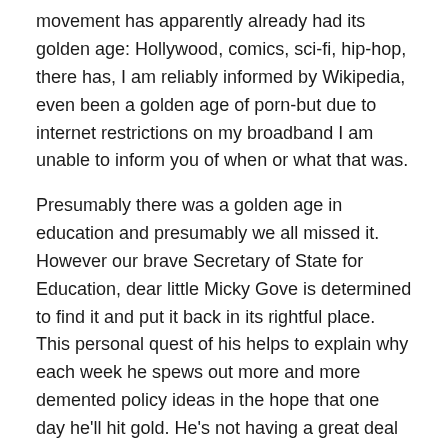movement has apparently already had its golden age: Hollywood, comics, sci-fi, hip-hop, there has, I am reliably informed by Wikipedia, even been a golden age of porn-but due to internet restrictions on my broadband I am unable to inform you of when or what that was.
Presumably there was a golden age in education and presumably we all missed it. However our brave Secretary of State for Education, dear little Micky Gove is determined to find it and put it back in its rightful place. This personal quest of his helps to explain why each week he spews out more and more demented policy ideas in the hope that one day he'll hit gold. He's not having a great deal of success with this strategy; I mean if you read all of his ideas for schools and education in order it's as if he's playing his own version of the BBC game show 'Pointless' where he's gradually trying to find the one idea that absolutely no teacher will like.